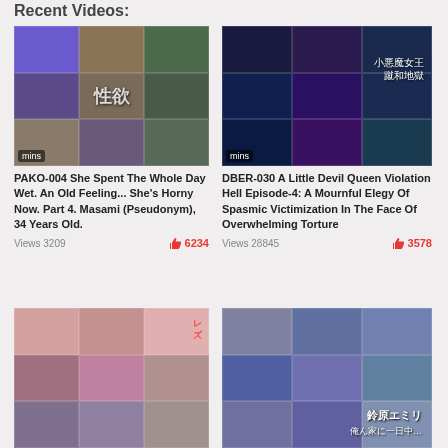Recent Videos:
[Figure (photo): Thumbnail for PAKO-004 video with mosaic/collage of scenes]
[Figure (photo): Thumbnail for DBER-030 video with dark purple mosaic collage]
PAKO-004 She Spent The Whole Day Wet. An Old Feeling... She's Horny Now. Part 4. Masami (Pseudonym), 34 Years Old.
DBER-030 A Little Devil Queen Violation Hell Episode-4: A Mournful Elegy Of Spasmic Victimization In The Face Of Overwhelming Torture
Views 3209
6234
Views 28845
3578
[Figure (photo): Thumbnail for third video bottom left, pink/purple mosaic collage]
[Figure (photo): Thumbnail for fourth video bottom right, blue/gray mosaic with Suzuhara Emily text]